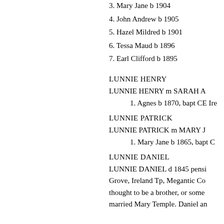3. Mary Jane b 1904
4. John Andrew b 1905
5. Hazel Mildred b 1901
6. Tessa Maud b 1896
7. Earl Clifford b 1895
LUNNIE HENRY
LUNNIE HENRY m SARAH A
1. Agnes b 1870, bapt CE Ire
LUNNIE PATRICK
LUNNIE PATRICK m MARY J
1. Mary Jane b 1865, bapt C
LUNNIE DANIEL
LUNNIE DANIEL d 1845 pensi Grove, Ireland Tp, Megantic Co thought to be a brother, or some married Mary Temple. Daniel an